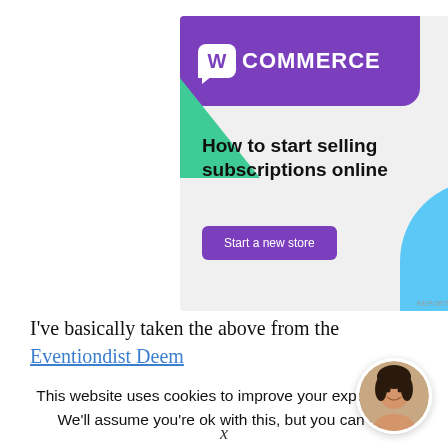[Figure (screenshot): WooCommerce advertisement banner with purple header containing WooCommerce logo, green triangle shape on left, light blue quarter-circle on bottom-right, headline 'How to start selling subscriptions online', and purple 'Start a new store' button on light gray background]
I've basically taken the above from the
This website uses cookies to improve your experience. We'll assume you're ok with this, but you can opt-out if
[Figure (photo): Circular avatar photo of a smiling young woman with dark hair]